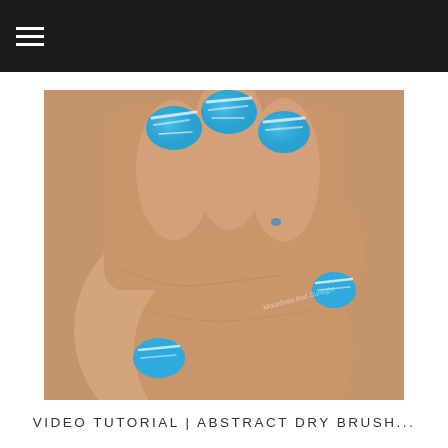[Figure (photo): Dark navigation bar at top with hamburger menu icon (three horizontal white lines) on black background]
[Figure (photo): Close-up photograph of a hand with nails painted in blue abstract dry brush nail art technique, showing textured blue and white brushstroke patterns on nails]
VIDEO TUTORIAL | ABSTRACT DRY BRUSH...